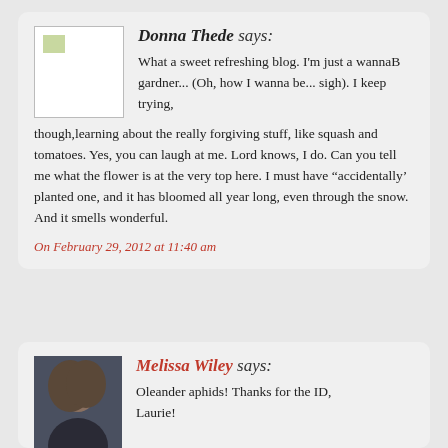Donna Thede says:
What a sweet refreshing blog. I'm just a wannaB gardner... (Oh, how I wanna be... sigh). I keep trying, though,learning about the really forgiving stuff, like squash and tomatoes. Yes, you can laugh at me. Lord knows, I do. Can you tell me what the flower is at the very top here. I must have “accidentally’ planted one, and it has bloomed all year long, even through the snow. And it smells wonderful.
On February 29, 2012 at 11:40 am
Melissa Wiley says:
Oleander aphids! Thanks for the ID, Laurie!